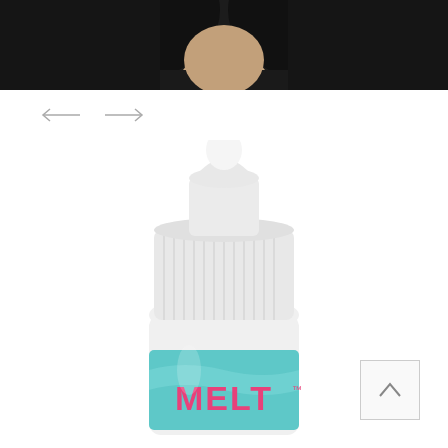[Figure (photo): Top portion of a product page showing a dark-haired person wearing a black top, cropped to show only neck/shoulder area]
[Figure (illustration): Navigation arrows: left arrow and right arrow for an image carousel]
[Figure (photo): A white squeeze/dropper bottle product with a teal/mint label reading MELT with trademark symbol and a white ribbed cap with pointed tip]